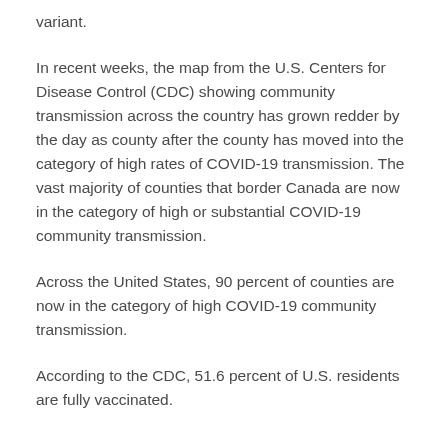variant.
In recent weeks, the map from the U.S. Centers for Disease Control (CDC) showing community transmission across the country has grown redder by the day as county after the county has moved into the category of high rates of COVID-19 transmission. The vast majority of counties that border Canada are now in the category of high or substantial COVID-19 community transmission.
Across the United States, 90 percent of counties are now in the category of high COVID-19 community transmission.
According to the CDC, 51.6 percent of U.S. residents are fully vaccinated.